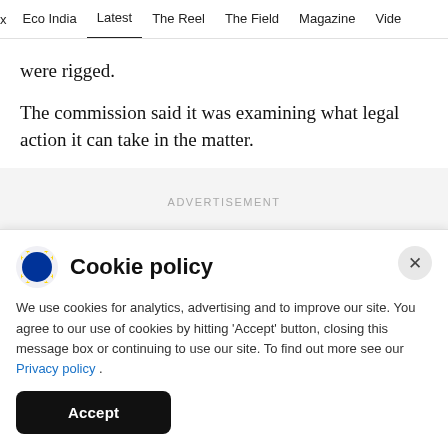x  Eco India  Latest  The Reel  The Field  Magazine  Video
were rigged.
The commission said it was examining what legal action it can take in the matter.
ADVERTISEMENT
Cookie policy
We use cookies for analytics, advertising and to improve our site. You agree to our use of cookies by hitting 'Accept' button, closing this message box or continuing to use our site. To find out more see our Privacy policy .
Accept